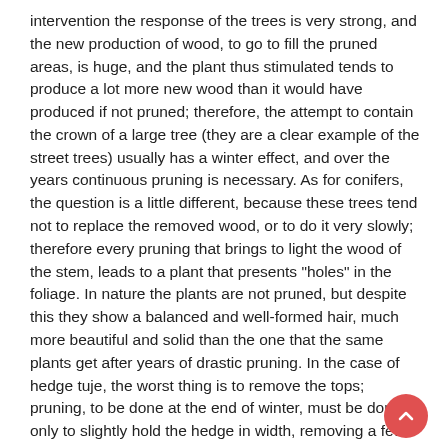intervention the response of the trees is very strong, and the new production of wood, to go to fill the pruned areas, is huge, and the plant thus stimulated tends to produce a lot more new wood than it would have produced if not pruned; therefore, the attempt to contain the crown of a large tree (they are a clear example of the street trees) usually has a winter effect, and over the years continuous pruning is necessary. As for conifers, the question is a little different, because these trees tend not to replace the removed wood, or to do it very slowly; therefore every pruning that brings to light the wood of the stem, leads to a plant that presents "holes" in the foliage. In nature the plants are not pruned, but despite this they show a balanced and well-formed hair, much more beautiful and solid than the one that the same plants get after years of drastic pruning. In the case of hedge tuje, the worst thing is to remove the tops; pruning, to be done at the end of winter, must be done only to slightly hold the hedge in width, removing a few centimeters (3-4) from the outer apices of the branches; if you prune a branch in half,